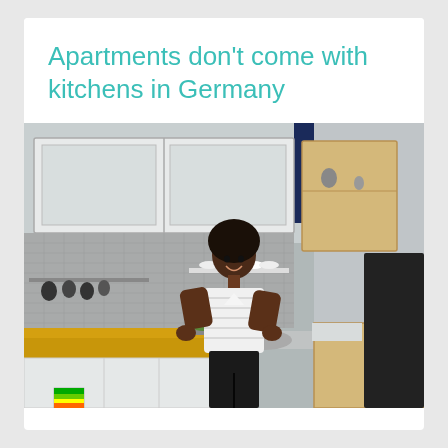Apartments don't come with kitchens in Germany
[Figure (photo): A woman standing with hands on hips and smiling in a kitchen showroom (IKEA), surrounded by kitchen cabinets, countertops with a wooden surface, appliances, and display shelving.]